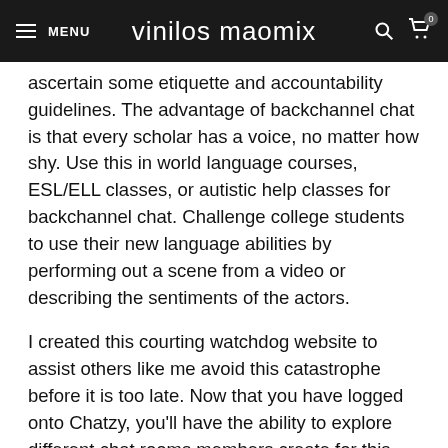≡ MENU  vinilos maomix  🔍 🛒 0
ascertain some etiquette and accountability guidelines. The advantage of backchannel chat is that every scholar has a voice, no matter how shy. Use this in world language courses, ESL/ELL classes, or autistic help classes for backchannel chat. Challenge college students to use their new language abilities by performing out a scene from a video or describing the sentiments of the actors.
I created this courting watchdog website to assist others like me avoid this catastrophe before it is too late. Now that you have logged onto Chatzy, you'll have the ability to explore different chat rooms members create for this service to see what attention-grabbing things folks do there. This is because chats are logged and saved, so anyone with access to the chat logs can see who's in there without any safety measure or login needed. Plus, Chatzy's Privacy Policy that they will not distribute, promote or give away a user personally identifiable information without their approval. You
[Figure (other): WhatsApp contact button (green circle with WhatsApp logo)]